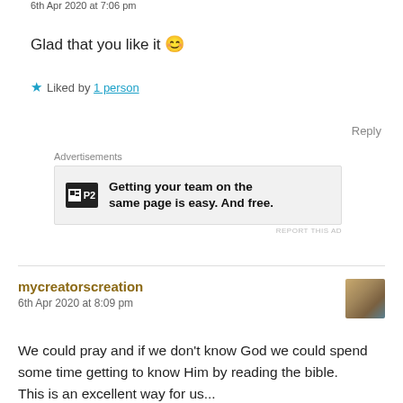6th Apr 2020 at 7:06 pm
Glad that you like it 😊
★ Liked by 1 person
Reply
Advertisements
[Figure (other): P2 advertisement banner: Getting your team on the same page is easy. And free.]
REPORT THIS AD
mycreatorscreation
6th Apr 2020 at 8:09 pm
We could pray and if we don't know God we could spend some time getting to know Him by reading the bible. This is an excellent way for us...